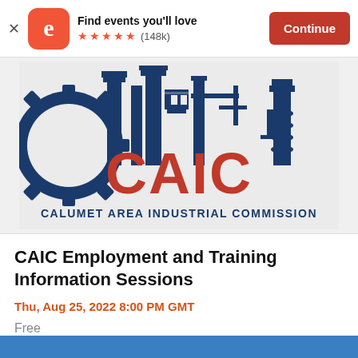Find events you'll love ★★★★★ (148k) Continue
[Figure (logo): CAIC logo — Calumet Area Industrial Commission — red CAIC letters with dark blue industrial machinery silhouette and gear background on light grey rectangle]
CAIC Employment and Training Information Sessions
Thu, Aug 25, 2022 8:00 PM GMT
Free